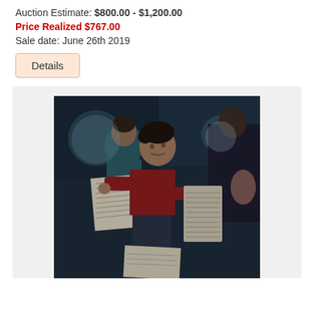Auction Estimate: $800.00 - $1,200.00
Price Realized $767.00
Sale date: June 26th 2019
Details
[Figure (photo): Oil painting depicting a boy in a red long-sleeve shirt selling newspapers at night, surrounded by other figures in a dark urban setting. The boy holds newspapers and looks upward.]